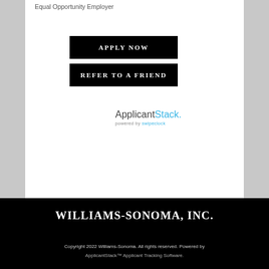Equal Opportunity Employer
[Figure (other): Black button with white text: APPLY NOW]
[Figure (other): Black button with white text: REFER TO A FRIEND]
[Figure (logo): ApplicantStack logo with tagline: powered by swipeclock]
WILLIAMS-SONOMA, INC.
Copyright 2022 Williams-Sonoma. All rights reserved. Powered by
ApplicantStack™ Applicant Tracking Software.